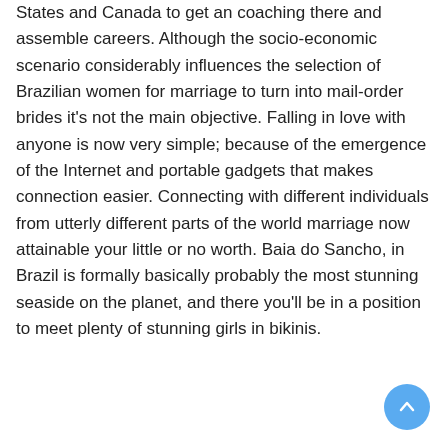States and Canada to get an coaching there and assemble careers. Although the socio-economic scenario considerably influences the selection of Brazilian women for marriage to turn into mail-order brides it's not the main objective. Falling in love with anyone is now very simple; because of the emergence of the Internet and portable gadgets that makes connection easier. Connecting with different individuals from utterly different parts of the world marriage now attainable your little or no worth. Baia do Sancho, in Brazil is formally basically probably the most stunning seaside on the planet, and there you'll be in a position to meet plenty of stunning girls in bikinis.